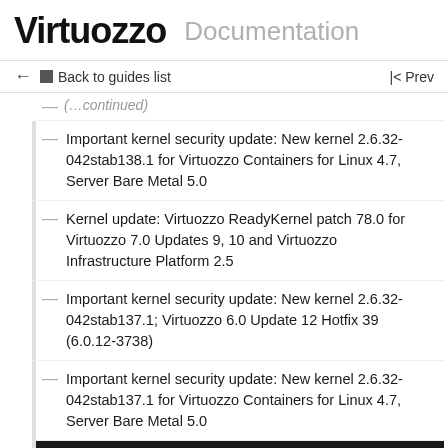Virtuozzo Documentation
← Back to guides list  |< Prev
Important kernel security update: New kernel 2.6.32-042stab138.1 for Virtuozzo Containers for Linux 4.7, Server Bare Metal 5.0
Kernel update: Virtuozzo ReadyKernel patch 78.0 for Virtuozzo 7.0 Updates 9, 10 and Virtuozzo Infrastructure Platform 2.5
Important kernel security update: New kernel 2.6.32-042stab137.1; Virtuozzo 6.0 Update 12 Hotfix 39 (6.0.12-3738)
Important kernel security update: New kernel 2.6.32-042stab137.1 for Virtuozzo Containers for Linux 4.7, Server Bare Metal 5.0
Kernel update: Virtuozzo ReadyKernel patch 77.1 for Virtuozzo 7.0.7 HF2 to 7.0.8 HF1